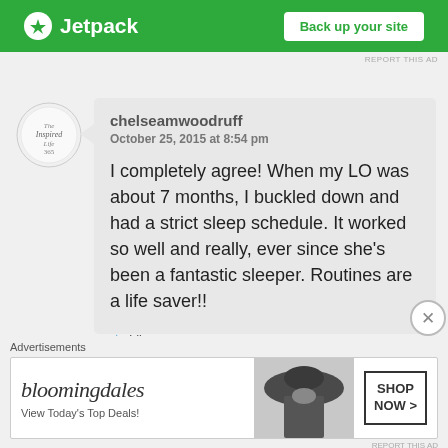[Figure (screenshot): Jetpack top ad banner with green background, lightning bolt logo, and 'Back up your site' button]
REPORT THIS AD
[Figure (logo): The Inspired Life 365 circular logo/avatar]
chelseamwoodruff
October 25, 2015 at 8:54 pm

I completely agree! When my LO was about 7 months, I buckled down and had a strict sleep schedule. It worked so well and really, ever since she’s been a fantastic sleeper. Routines are a life saver!!
Like
Reply
Advertisements
[Figure (screenshot): Bloomingdales advertisement banner with hat photo, 'View Today's Top Deals!' text and 'SHOP NOW >' button]